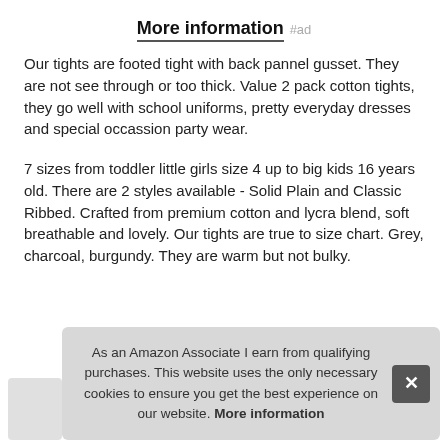More information #ad
Our tights are footed tight with back pannel gusset. They are not see through or too thick. Value 2 pack cotton tights, they go well with school uniforms, pretty everyday dresses and special occassion party wear.
7 sizes from toddler little girls size 4 up to big kids 16 years old. There are 2 styles available - Solid Plain and Classic Ribbed. Crafted from premium cotton and lycra blend, soft breathable and lovely. Our tights are true to size chart. Grey, charcoal, burgundy. They are warm but not bulky.
As an Amazon Associate I earn from qualifying purchases. This website uses the only necessary cookies to ensure you get the best experience on our website. More information